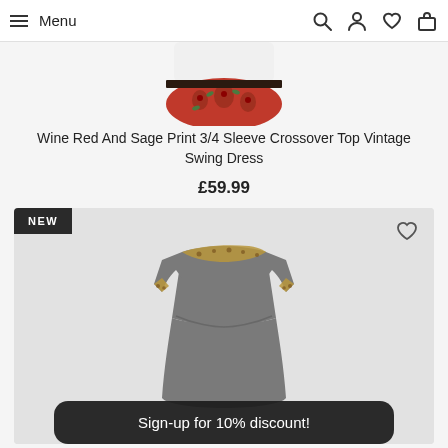Menu
[Figure (photo): Partial view of a red floral print vintage swing dress product image]
Wine Red And Sage Print 3/4 Sleeve Crossover Top Vintage Swing Dress
£59.99
[Figure (photo): Grey short sleeve fitted dress with gold/leopard trim at neckline and sleeves, shown on a product card with NEW badge and wishlist heart icon]
Sign-up for 10% discount!